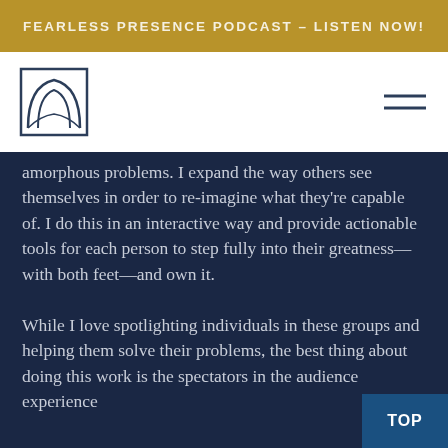FEARLESS PRESENCE PODCAST – LISTEN NOW!
[Figure (logo): Navigation bar with logo (arch/gate symbol in dark navy outline, square frame) on left and hamburger menu icon on right, white background]
amorphous problems. I expand the way others see themselves in order to re-imagine what they're capable of. I do this in an interactive way and provide actionable tools for each person to step fully into their greatness—with both feet—and own it.
While I love spotlighting individuals in these groups and helping them solve their problems, the best thing about doing this work is the spectators in the audience experience